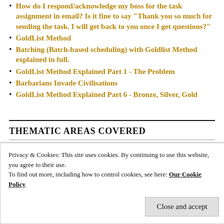How do I respond/acknowledge my boss for the task assignment in email? Is it fine to say "Thank you so much for sending the task. I will get back to you once I get questions?"
GoldList Method
Batching (Batch-based scheduling) with Goldlist Method explained in full.
GoldList Method Explained Part 1 - The Problem
Barbarians Invade Civilisations
GoldList Method Explained Part 6 - Bronze, Silver, Gold
THEMATIC AREAS COVERED
Select Category
Privacy & Cookies: This site uses cookies. By continuing to use this website, you agree to their use.
To find out more, including how to control cookies, see here: Our Cookie Policy